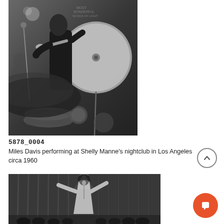[Figure (photo): Black and white photograph of Miles Davis playing trumpet at Shelly Manne's nightclub in Los Angeles, circa 1960. A large cymbal is visible in the foreground/background, and other musicians are present.]
5878_0004
Miles Davis performing at Shelly Manne's nightclub in Los Angeles circa 1960
[Figure (photo): Black and white photograph of a female singer performing on stage with arms outstretched, wearing a light-colored dress, in front of a curtained backdrop with an audience visible.]